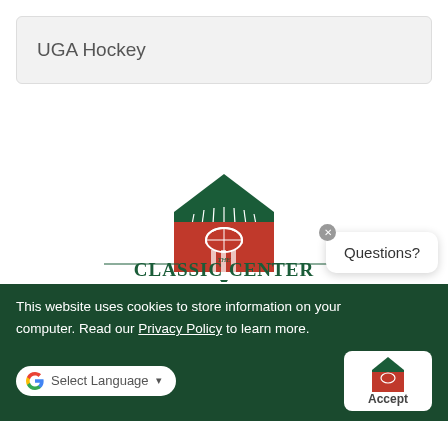UGA Hockey
[Figure (logo): The Classic Center logo with red building, dark green roof/accents, and 'THE CLASSIC CENTER' text]
This website uses cookies to store information on your computer. Read our Privacy Policy to learn more.
Select Language
Questions?
Accept